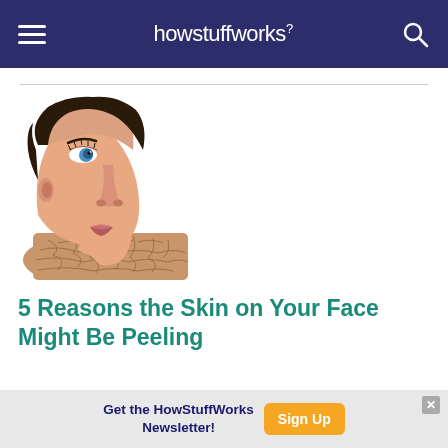howstuffworks
[Figure (photo): Side profile of a woman's face with dry, cracked, peeling skin on the chin and neck area against a white background.]
5 Reasons the Skin on Your Face Might Be Peeling
Get the HowStuffWorks Newsletter! Sign Up